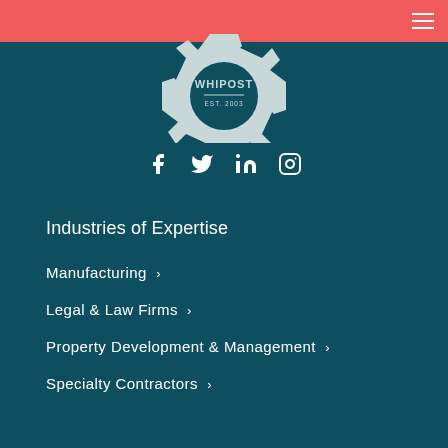[Figure (logo): WHIPOST Est. 2003 gear/cog logo in white on dark teal background, partially visible at top]
[Figure (infographic): Social media icons: Facebook, Twitter, LinkedIn, Instagram in white]
Industries of Expertise
Manufacturing >
Legal & Law Firms >
Property Development & Management >
Specialty Contractors >